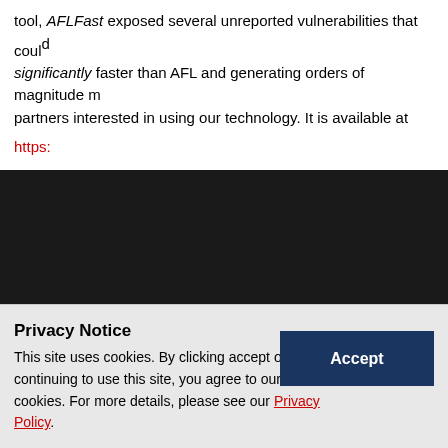tool, AFLFast exposed several unreported vulnerabilities that could significantly faster than AFL and generating orders of magnitude m partners interested in using our technology. It is available at https:…
Directed greybox fuzzing tool, AFLGo which integrated with OSS-F and reach more targets in the same time as compared to the direc AFLGo makes the fuzz tester reach the specific locations.
[Figure (photo): Dark background image area with a circular/arc shape visible at the bottom center, partially cut off]
Privacy Notice
This site uses cookies. By clicking accept or continuing to use this site, you agree to our use of cookies. For more details, please see our Privacy Policy.